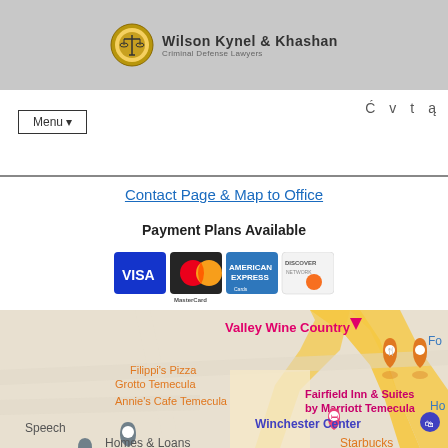Wilson Kynel & Khashan — Criminal Defense Lawyers
Menu
Contact Page & Map to Office
Payment Plans Available
[Figure (other): Payment card logos: VISA, MasterCard, American Express, Discover]
[Figure (map): Google Maps view showing Temecula area with labels: Valley Wine Country, Filippi's Pizza Grotto Temecula, Annie's Cafe Temecula, Fairfield Inn & Suites by Marriott Temecula, Winchester Center, Speech, Homes & Loans, Starbucks]